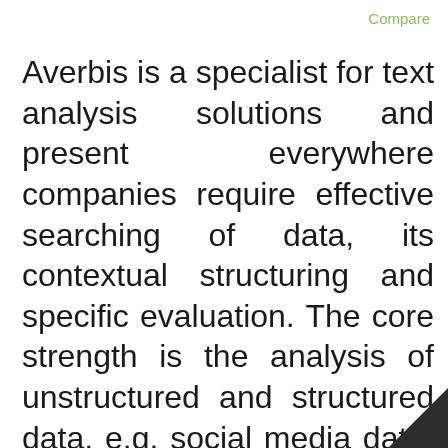Compare
Averbis is a specialist for text analysis solutions and present everywhere companies require effective searching of data, its contextual structuring and specific evaluation. The core strength is the analysis of unstructured and structured data, e.g. social media data, news, web resources, reports, patents, company-internal data, emails and research literature. The Averbis software enables the tapping into